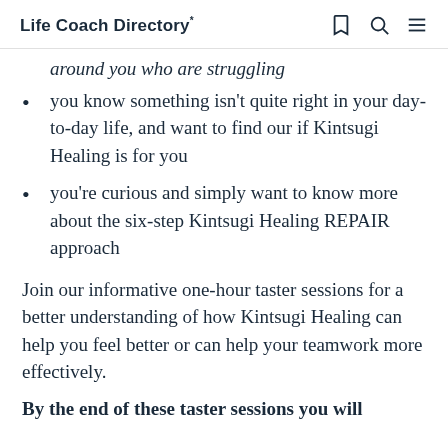Life Coach Directory*
around you who are struggling
you know something isn't quite right in your day-to-day life, and want to find our if Kintsugi Healing is for you
you're curious and simply want to know more about the six-step Kintsugi Healing REPAIR approach
Join our informative one-hour taster sessions for a better understanding of how Kintsugi Healing can help you feel better or can help your teamwork more effectively.
By the end of these taster sessions you will